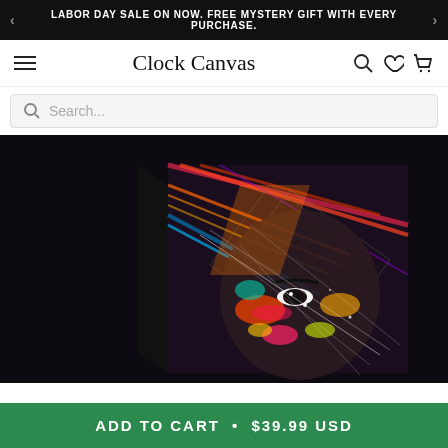LABOR DAY SALE ON NOW. FREE MYSTERY GIFT WITH EVERY PURCHASE.
Clock Canvas
Search...
[Figure (photo): Canvas wall art product showing an abstract colorful portrait of a face with geometric lines and splashes of orange, red, blue, yellow and white paint on dark background, displayed on a wrapped canvas with black sides.]
ADD TO CART • $39.99 USD